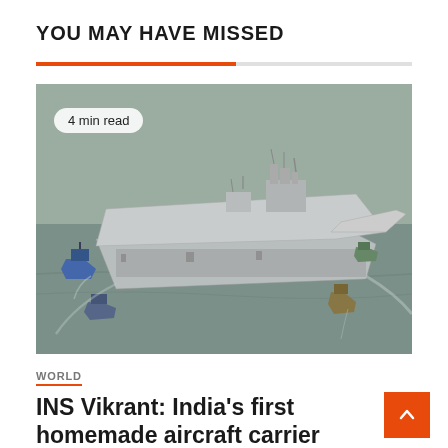YOU MAY HAVE MISSED
[Figure (photo): Aerial photograph of INS Vikrant, India's aircraft carrier, being guided by tugboats on grey water. Badge overlay reads '4 min read'.]
WORLD
INS Vikrant: India's first homemade aircraft carrier that places it among the world's naval elites